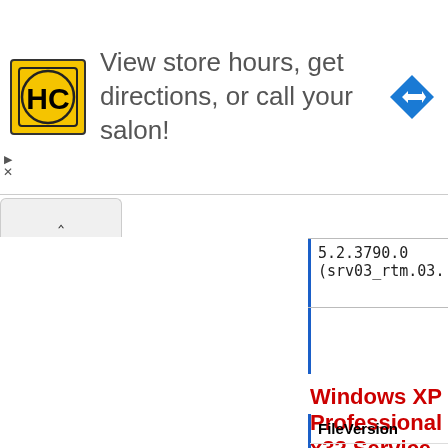[Figure (other): Advertisement banner: HC logo (yellow square with black HC letters), text 'View store hours, get directions, or call your salon!', blue diamond arrow icon on right]
| FileVersion | File Md5 |
| --- | --- |
| 5.2.3790.0 (srv03_rtm.03... | e564463104c9089753... |
Windows XP Professional x32 Service
| FileVersion | File Md5 |
| --- | --- |
| 5.1.2600.0 (xpclient.0108... | 67d442f0dbee60cfb43... |